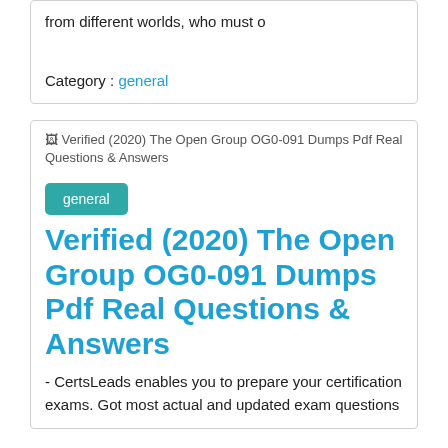from different worlds, who must o
Category : general
[Figure (screenshot): Broken image placeholder showing text: Verified (2020) The Open Group OG0-091 Dumps Pdf Real Questions & Answers]
general
Verified (2020) The Open Group OG0-091 Dumps Pdf Real Questions & Answers
- CertsLeads enables you to prepare your certification exams. Got most actual and updated exam questions